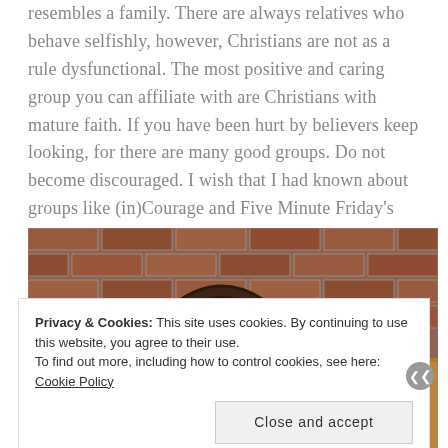resembles a family. There are always relatives who behave selfishly, however, Christians are not as a rule dysfunctional. The most positive and caring group you can affiliate with are Christians with mature faith. If you have been hurt by believers keep looking, for there are many good groups. Do not become discouraged. I wish that I had known about groups like (in)Courage and Five Minute Friday's sooner.
[Figure (photo): A dark brown leather bag/satchel resting against a wooden surface with a red brick wall in the background.]
Privacy & Cookies: This site uses cookies. By continuing to use this website, you agree to their use. To find out more, including how to control cookies, see here: Cookie Policy
Close and accept